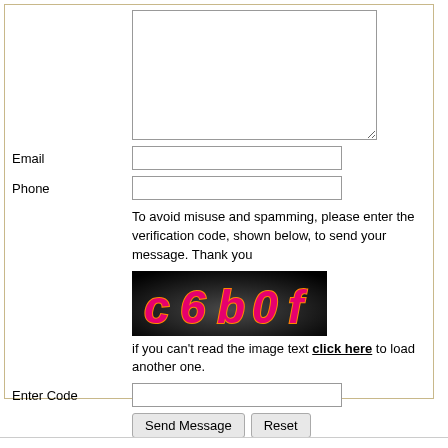[Figure (screenshot): A web contact form showing a textarea, Email field, Phone field, CAPTCHA image with text 'c 6 b 0 f', verification instructions, Enter Code field, and Send Message/Reset buttons.]
Email
Phone
To avoid misuse and spamming, please enter the verification code, shown below, to send your message. Thank you
[Figure (other): CAPTCHA image with dark background showing text 'c 6 b 0 f' in orange-pink 3D letters]
if you can't read the image text click here to load another one.
Enter Code